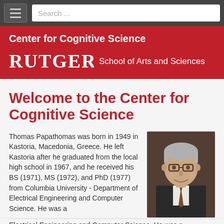Center for Cognitive Science — Rutgers School of Arts and Sciences
Welcome to the Center for Cognitive Science
Thomas Papathomas was born in 1949 in Kastoria, Macedonia, Greece. He left Kastoria after he graduated from the local high school in 1967, and he received his BS (1971), MS (1972), and PhD (1977) from Columbia University - Department of Electrical Engineering and Computer Science. He was a
[Figure (photo): Headshot photo of Thomas Papathomas, a man with grey hair wearing glasses and a suit with a tie, smiling, against a brick background.]